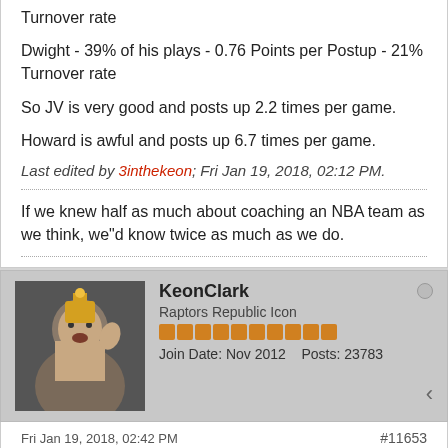Turnover rate
Dwight - 39% of his plays - 0.76 Points per Postup - 21% Turnover rate
So JV is very good and posts up 2.2 times per game.
Howard is awful and posts up 6.7 times per game.
Last edited by 3inthekeon; Fri Jan 19, 2018, 02:12 PM.
If we knew half as much about coaching an NBA team as we think, we"d know twice as much as we do.
KeonClark
Raptors Republic Icon
Join Date: Nov 2012    Posts: 23783
Fri Jan 19, 2018, 02:42 PM
#11653
The only thing Dwight is still superior at is farts per 36